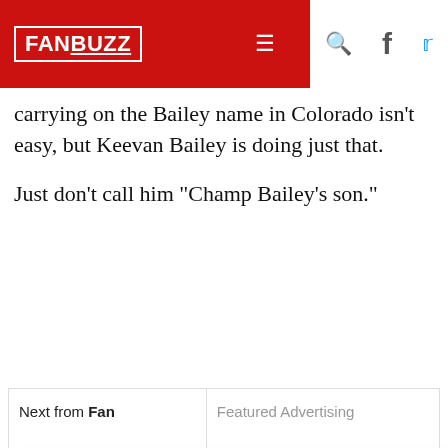FANBUZZ
carrying on the Bailey name in Colorado isn't easy, but Keevan Bailey is doing just that.
Just don’t call him “Champ Bailey’s son.”
Next from Fan | Featured Advertising
In accordance with our Privacy Policy, we may share with our parent company (PCH) and advertising partners an anonymized identifier that protects your privacy, provides advertising tailored to your interests and gives you access to advertising supported content. Data collected on one of our sites may be used on our other owned and operated sites, which sites are identified in our Privacy Policy. All of our sites are governed by the same Privacy Policy, and by proceeding to access this site, you are consenting to that Privacy Policy.